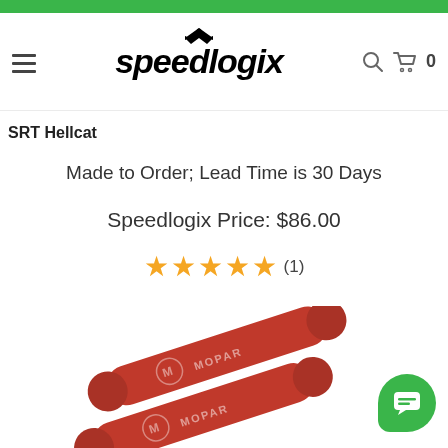Speedlogix - Navigation header with menu, logo, search and cart
SRT Hellcat
Made to Order; Lead Time is 30 Days
Speedlogix Price: $86.00
★★★★★ (1)
[Figure (photo): Two red cylindrical Mopar branded parts/accessories shown diagonally]